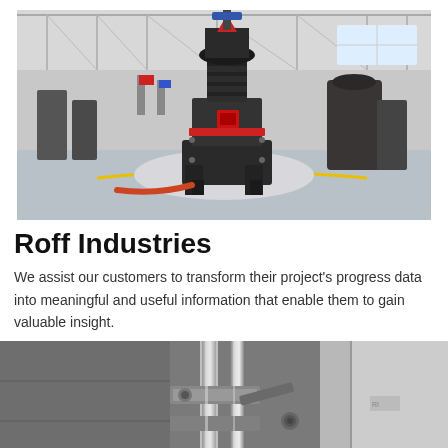[Figure (photo): Industrial grinding mill machine in a large factory floor. The machine is dark grey/black with a red accent band and a red square window. The factory has a high ceiling with steel trusses, grey floor with yellow safety markings, and other industrial equipment visible in the background.]
Roff Industries
We assist our customers to transform their project's progress data into meaningful and useful information that enable them to gain valuable insight.
[Figure (photo): Close-up photograph of industrial metal machinery components, showing stainless steel pipes, brackets, and mechanical fittings in a factory or industrial setting.]